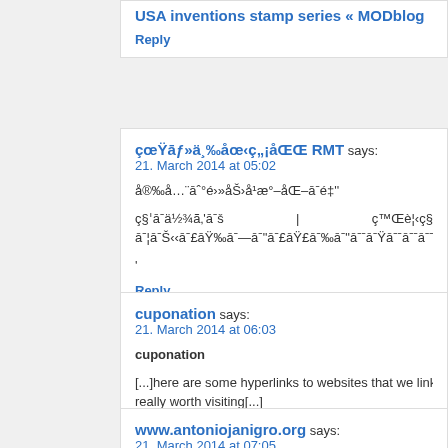USA inventions stamp series « MODblog
Reply
çœŸāƒ»ä¸‰åœ‹ç„¡åŒŒ RMT says:
21. March 2014 at 05:02
å®‰å…¨āˆ°é›»åŠ›å¹æ°–åŒ–āˉé‡'
ç§ˆāˉä½¾ã‚'āˉš | ç™Œè¦‹ç§ˈāˉ¦āˉŠ‹‹āˉ£āŸ‰āˉ—āˉš
Reply
cuponation says:
21. March 2014 at 06:03
cuponation
[...]here are some hyperlinks to websites that we link to bec
really worth visiting[...]
Reply
www.antoniojanigro.org says:
21. March 2014 at 07:05
http://www.antoniojanigro.org